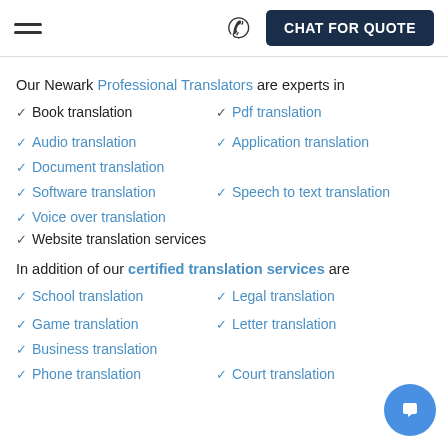☰  ☎  CHAT FOR QUOTE
Our Newark Professional Translators are experts in
✓ Book translation   ✓ Pdf translation
✓ Audio translation   ✓ Application translation
✓ Document translation
✓ Software translation   ✓ Speech to text translation
✓ Voice over translation
✓ Website translation services
In addition of our certified translation services are
✓ School translation   ✓ Legal translation
✓ Game translation   ✓ Letter translation
✓ Business translation
✓ Phone translation   ✓ Court translation